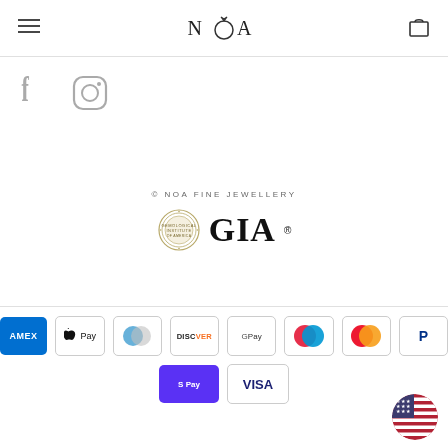NOA (logo with hamburger menu and bag icon)
[Figure (logo): Facebook and Instagram social media icons]
© NOA FINE JEWELLERY
[Figure (logo): GIA (Gemological Institute of America) logo with circular seal]
[Figure (logo): Payment method icons: American Express, Apple Pay, Diners Club, Discover, Google Pay, Maestro, Mastercard, PayPal, Shop Pay, Visa]
[Figure (logo): US flag circular button in bottom right corner]